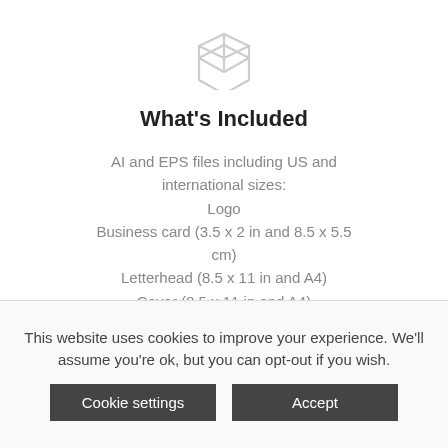[Figure (illustration): Open box / package icon outline in light gray]
What's Included
AI and EPS files including US and international sizes:
Logo
Business card (3.5 x 2 in and 8.5 x 5.5 cm)
Letterhead (8.5 x 11 in and A4)
Cover (8.5 x 11 in and A4)
Envelope (9.5 x 4.13 in and 22 x 11 cm)
This website uses cookies to improve your experience. We'll assume you're ok, but you can opt-out if you wish.